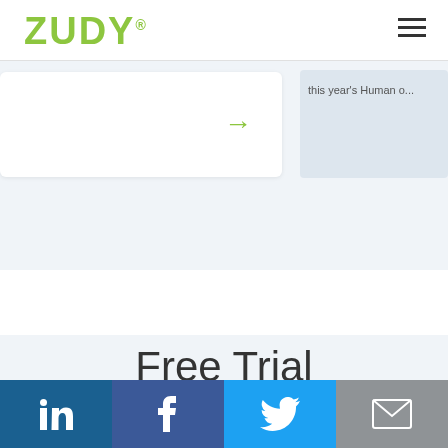ZUDY
[Figure (screenshot): Partial website screenshot showing a white card with a green right arrow, and a partially visible right panel with text 'this year's Human o...' on a light blue background]
Free Trial
[Figure (infographic): Social sharing bar with four icons: LinkedIn (dark blue), Facebook (medium blue), Twitter (light blue), Email/envelope (gray)]